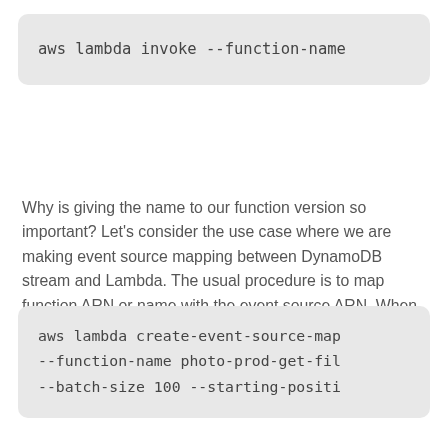aws lambda invoke --function-name
Why is giving the name to our function version so important? Let's consider the use case where we are making event source mapping between DynamoDB stream and Lambda. The usual procedure is to map function ARN or name with the event source ARN. When we do this, our mapping is always targeting the latest Lambda version.
aws lambda create-event-source-map
--function-name photo-prod-get-fil
--batch-size 100 --starting-positi